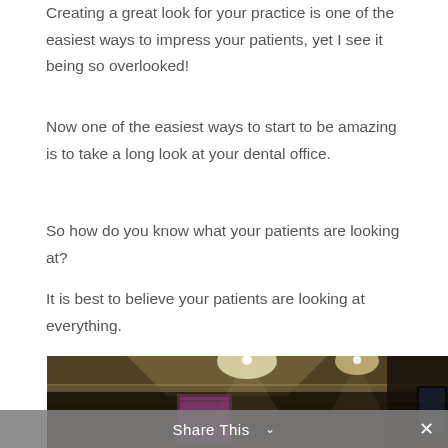Creating a great look for your practice is one of the easiest ways to impress your patients, yet I see it being so overlooked!
Now one of the easiest ways to start to be amazing is to take a long look at your dental office.
So how do you know what your patients are looking at?
It is best to believe your patients are looking at everything.
[Figure (photo): Interior photo of a dental office waiting room showing recessed ceiling lights, dark wood paneling, framed artwork on the wall, and flat screen monitors.]
Share This ∨  ✕